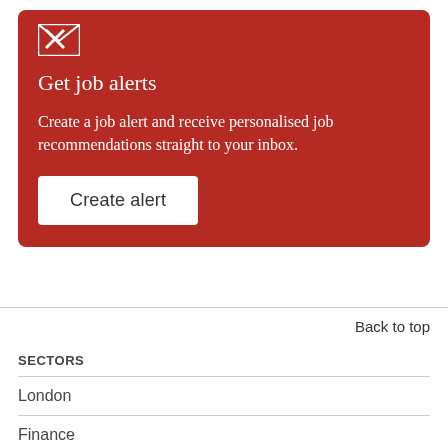[Figure (illustration): White envelope icon with X on red background]
Get job alerts
Create a job alert and receive personalised job recommendations straight to your inbox.
Create alert
Back to top
SECTORS
London
Finance
Technology